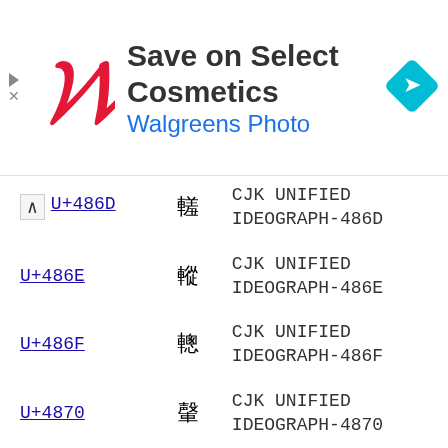[Figure (other): Walgreens advertisement banner: 'Save on Select Cosmetics / Walgreens Photo' with Walgreens logo and navigation icon]
| Code | Char | Name |
| --- | --- | --- |
| U+486D | 䡭 | CJK UNIFIED IDEOGRAPH-486D |
| U+486E | 䡮 | CJK UNIFIED IDEOGRAPH-486E |
| U+486F | 䡯 | CJK UNIFIED IDEOGRAPH-486F |
| U+4870 | 䡰 | CJK UNIFIED IDEOGRAPH-4870 |
| U+4871 | 䡱 | CJK UNIFIED IDEOGRAPH-4871 |
| U+4872 | 䡲 | CJK UNIFIED IDEOGRAPH-4872 |
| U+4873 | 䡳 | CJK UNIFIED IDEOGRAPH-4873 |